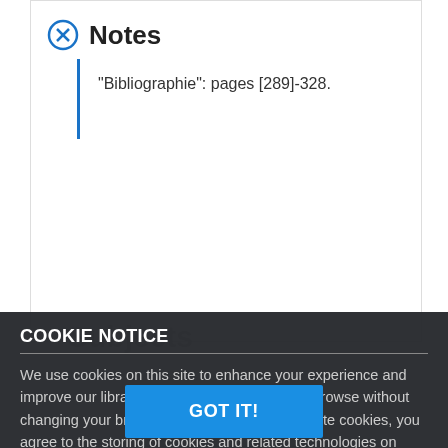Notes
"Bibliographie": pages [289]-328.
Subjects
COOKIE NOTICE
We use cookies on this site to enhance your experience and improve our library services. By continuing to browse without changing your browser settings to block or delete cookies, you agree to the storing of cookies and related technologies on your device. UW–Madison Privacy Notice
GOT IT!